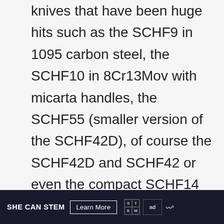knives that have been huge hits such as the SCHF9 in 1095 carbon steel, the SCHF10 in 8Cr13Mov with micarta handles, the SCHF55 (smaller version of the SCHF42D), of course the SCHF42D and SCHF42 or even the compact SCHF14 which is made of 9CR18Mov steel.

And also, while sort of new to the eyes and ears of many,
SHE CAN STEM   Learn More